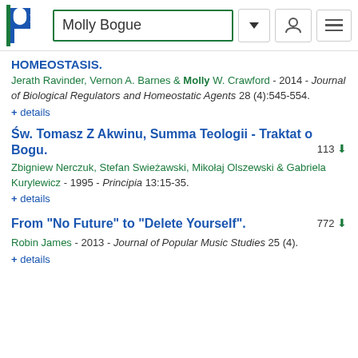Molly Bogue
HOMEOSTASIS.
Jerath Ravinder, Vernon A. Barnes & Molly W. Crawford - 2014 - Journal of Biological Regulators and Homeostatic Agents 28 (4):545-554.
+ details
Św. Tomasz Z Akwinu, Summa Teologii - Traktat o Bogu.
Zbigniew Nerczuk, Stefan Swieżawski, Mikołaj Olszewski & Gabriela Kurylewicz - 1995 - Principia 13:15-35.
+ details
From "No Future" to "Delete Yourself".
Robin James - 2013 - Journal of Popular Music Studies 25 (4).
+ details